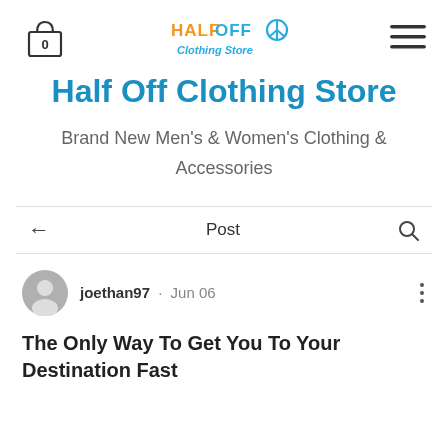[Figure (logo): Half Off Clothing Store logo with colorful text and peace symbol icon]
Half Off Clothing Store
Brand New Men's & Women's Clothing & Accessories
Post
joethan97 · Jun 06
The Only Way To Get You To Your Destination Fast